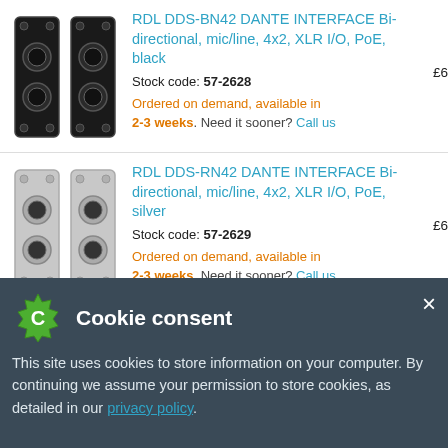RDL DDS-BN42 DANTE INTERFACE Bi-directional, mic/line, 4x2, XLR I/O, PoE, black
Stock code: 57-2628
Ordered on demand, available in 2-3 weeks. Need it sooner? Call us
£6...
RDL DDS-RN42 DANTE INTERFACE Bi-directional, mic/line, 4x2, XLR I/O, PoE, silver
Stock code: 57-2629
Ordered on demand, available in 2-3 weeks. Need it sooner? Call us
£6...
Cookie consent
This site uses cookies to store information on your computer. By continuing we assume your permission to store cookies, as detailed in our privacy policy.